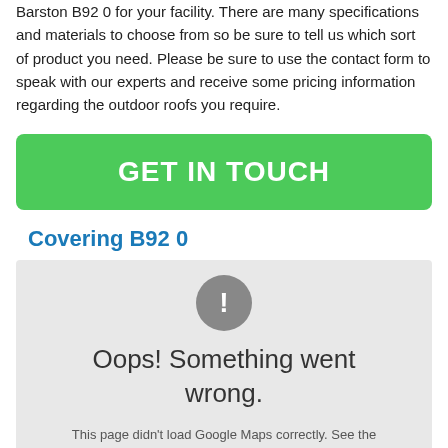Barston B92 0 for your facility. There are many specifications and materials to choose from so be sure to tell us which sort of product you need. Please be sure to use the contact form to speak with our experts and receive some pricing information regarding the outdoor roofs you require.
GET IN TOUCH
Covering B92 0
[Figure (screenshot): Google Maps error state showing a grey box with an exclamation mark icon and the message 'Oops! Something went wrong.' and subtext 'This page didn't load Google Maps correctly. See the JavaScript console for technical details.']